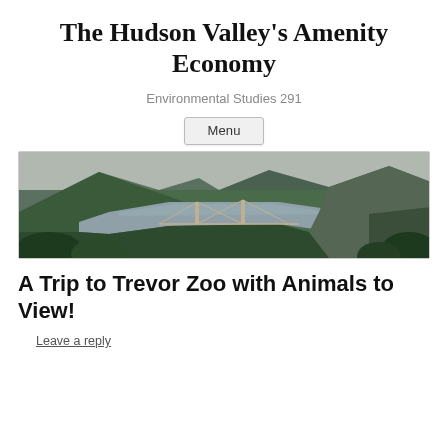The Hudson Valley's Amenity Economy
Environmental Studies 291
Menu
[Figure (photo): Aerial panoramic photo of the Hudson Valley showing a wide river with a suspension bridge, densely forested hillsides and mountains in the background under an overcast sky.]
A Trip to Trevor Zoo with Animals to View!
Leave a reply